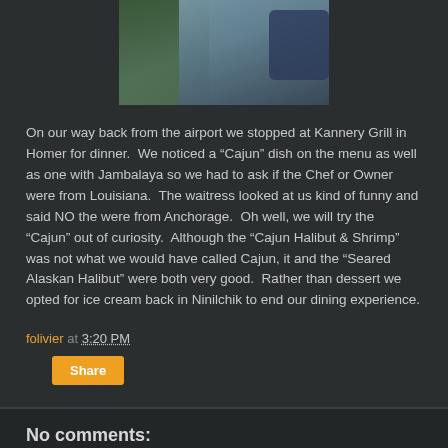[Figure (photo): Partial photo showing people/figures, cropped at top, blue and dark green clothing visible]
On our way back from the airport we stopped at Kannery Grill in Homer for dinner.  We noticed a “Cajun” dish on the menu as well as one with Jambalaya so we had to ask if the Chef or Owner were from Louisiana.  The waitress looked at us kind of funny and said NO the were from Anchorage.  Oh well, we will try the “Cajun” out of curiosity.  Although the “Cajun Halibut & Shrimp” was not what we would have called Cajun, it and the “Seared Alaskan Halibut” were both very good.  Rather than dessert we opted for ice cream back in Ninilchik to end our dining experience.
folivier at 3:20 PM
Share
No comments:
Post a Comment